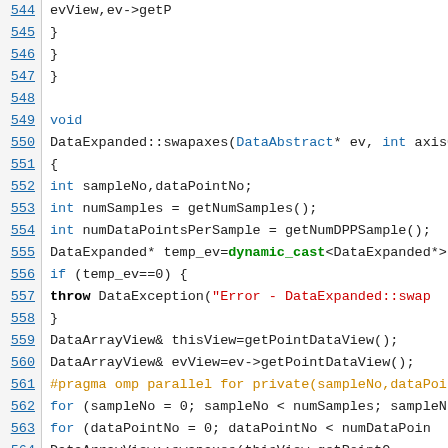[Figure (screenshot): Source code listing lines 544-566 of C++ DataExpanded::swapaxes function with syntax highlighting. Line numbers shown in blue on left, code in monospace with colored keywords.]